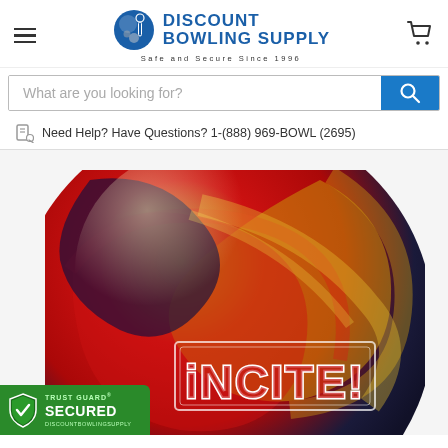Discount Bowling Supply — Safe and Secure Since 1996
What are you looking for?
Need Help? Have Questions? 1-(888) 969-BOWL (2695)
[Figure (photo): A red, gold, and navy swirled bowling ball with the text 'iNCITE!' printed on it, photographed on a white background.]
[Figure (logo): Trust Guard Secured badge for discountbowlingsupply.com, green background with shield icon.]